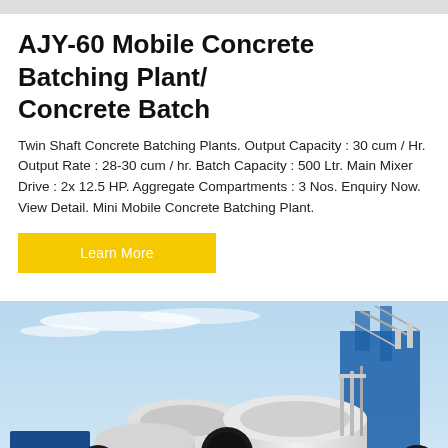AJY-60 Mobile Concrete Batching Plant/ Concrete Batch
Twin Shaft Concrete Batching Plants. Output Capacity : 30 cum / Hr. Output Rate : 28-30 cum / hr. Batch Capacity : 500 Ltr. Main Mixer Drive : 2x 12.5 HP. Aggregate Compartments : 3 Nos. Enquiry Now. View Detail. Mini Mobile Concrete Batching Plant.
Learn More
[Figure (photo): Mobile concrete batching plant with multiple large white cylindrical mixer drums, with blue building visible in background and blue sky above.]